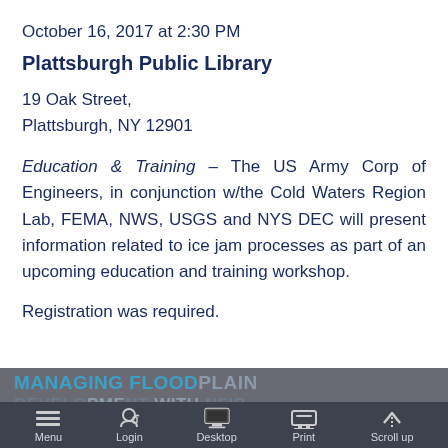October 16, 2017 at 2:30 PM
Plattsburgh Public Library
19 Oak Street,
Plattsburgh, NY 12901
Education & Training – The US Army Corp of Engineers, in conjunction w/the Cold Waters Region Lab, FEMA, NWS, USGS and NYS DEC will present information related to ice jam processes as part of an upcoming education and training workshop.
Registration was required.
MANAGING FLOODPLAIN
DEVELOPMENT WITH NFIP
Menu | Login | Desktop | Print | Scroll up